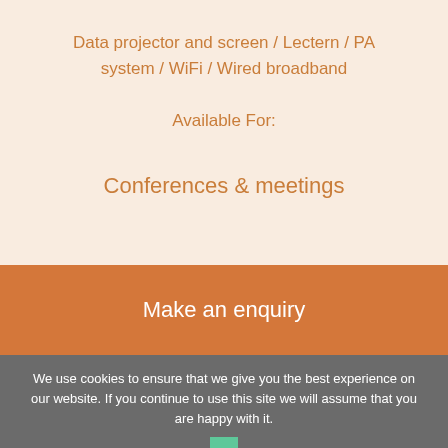Data projector and screen / Lectern / PA system / WiFi / Wired broadband
Available For:
Conferences & meetings
Make an enquiry
We use cookies to ensure that we give you the best experience on our website. If you continue to use this site we will assume that you are happy with it.